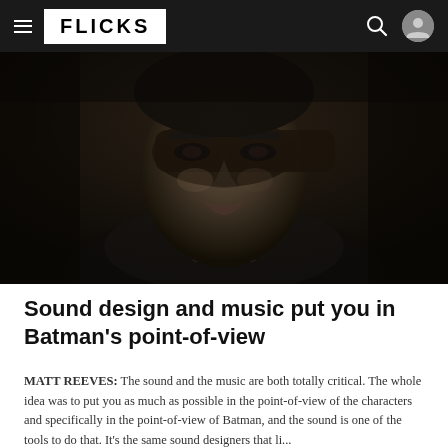FLICKS
[Figure (photo): Close-up dark moody photo of Batman character (Robert Pattinson) in dark costume, looking downward with dark eye makeup, from The Batman movie.]
Sound design and music put you in Batman's point-of-view
MATT REEVES: The sound and the music are both totally critical. The whole idea was to put you as much as possible in the point-of-view of the characters and specifically in the point-of-view of Batman, and the sound is one of the tools to do that. It's the same sound designers that li...